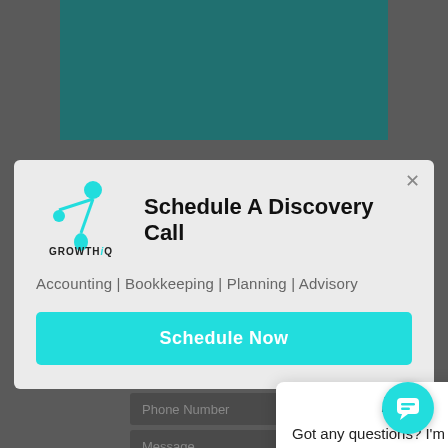[Figure (screenshot): Screenshot of a website with a dark gray background, a teal header section partially visible at the top, a modal dialog titled 'Schedule A Discovery Call' with GrowthiQ logo, services listed as 'Accounting | Bookkeeping | Planning | Advisory', a teal 'Schedule Now' button, a chat popup with 'iQ' logo and text 'Got any questions? I'm happy to help.', a phone number input field, a message input field, and a teal chat bubble button at bottom right.]